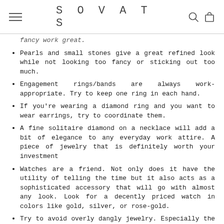SOVATS
fancy work great. (partial, cut off at top)
Pearls and small stones give a great refined look while not looking too fancy or sticking out too much.
Engagement rings/bands are always work-appropriate. Try to keep one ring in each hand.
If you're wearing a diamond ring and you want to wear earrings, try to coordinate them.
A fine solitaire diamond on a necklace will add a bit of elegance to any everyday work attire. A piece of jewelry that is definitely worth your investment
Watches are a friend. Not only does it have the utility of telling the time but it also acts as a sophisticated accessory that will go with almost any look. Look for a decently priced watch in colors like gold, silver, or rose-gold.
Try to avoid overly dangly jewelry. Especially the ones that cause too much noise when making simple (cut off)